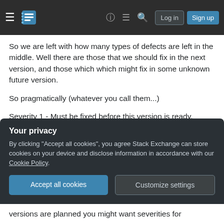Stack Exchange navigation bar with hamburger menu, logo, help, chat, search icons, Log in and Sign up buttons
So we are left with how many types of defects are left in the middle. Well there are those that we should fix in the next version, and those which which might fix in some unknown future version.
So pragmatically (whatever you call them...)
Severity 1 - Must be fixed before this version is ready.
Severity 2 - Should be fixed in next version
Your privacy
By clicking "Accept all cookies", you agree Stack Exchange can store cookies on your device and disclose information in accordance with our Cookie Policy.
versions are planned you might want severities for